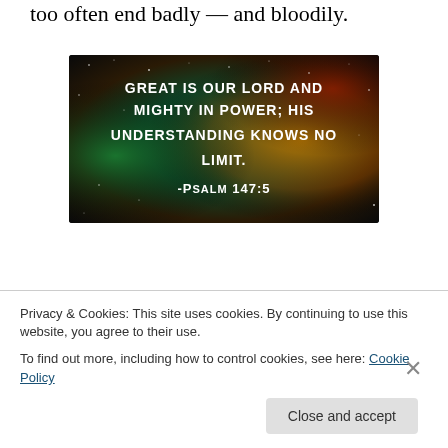too often end badly — and bloodily.
[Figure (photo): A space nebula background image with white text reading: 'Great is our Lord and mighty in power; His understanding knows no limit. -Psalm 147:5']
Klein's critique itself overreaches. Nobody imagines America is omniscient and omnipotent. If that were the requisite for action, we'd be paralyzed. Sometimes action
Privacy & Cookies: This site uses cookies. By continuing to use this website, you agree to their use.
To find out more, including how to control cookies, see here: Cookie Policy
Close and accept